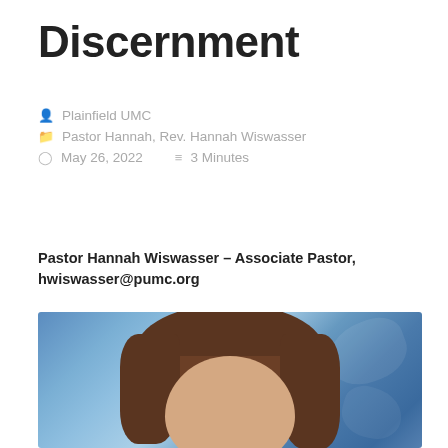Discernment
Plainfield UMC
Pastor Hannah, Rev. Hannah Wiswasser
May 26, 2022   3 Minutes
Pastor Hannah Wiswasser – Associate Pastor, hwiswasser@pumc.org
[Figure (photo): Professional headshot portrait of Pastor Hannah Wiswasser against a blue mottled studio background, showing her face and brown hair with bangs.]